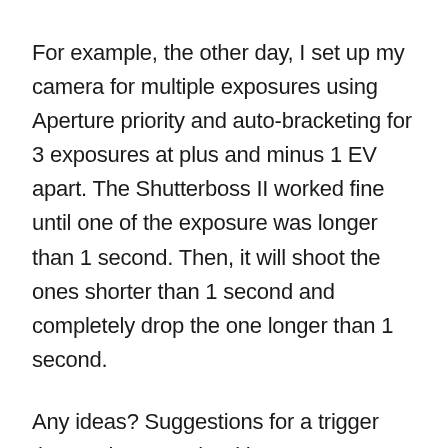For example, the other day, I set up my camera for multiple exposures using Aperture priority and auto-bracketing for 3 exposures at plus and minus 1 EV apart. The Shutterboss II worked fine until one of the exposure was longer than 1 second. Then, it will shoot the ones shorter than 1 second and completely drop the one longer than 1 second.
Any ideas? Suggestions for a trigger that works properly with Sony?